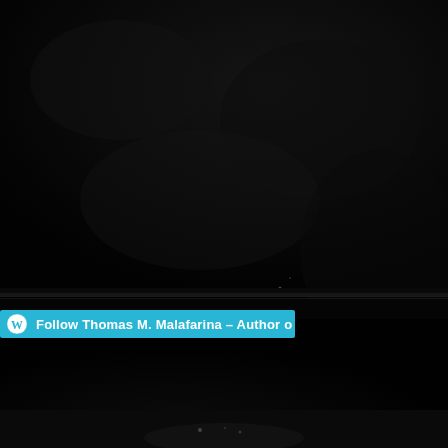[Figure (photo): Dark, nearly black photograph showing a rocky or cave-like surface with very low lighting. A horizontal dark band runs across the middle of the image. The bottom portion shows a similarly dark rocky/watery scene with faint light reflections.]
Follow Thomas M. Malafarina – Author o
Blog at WordPress.com.